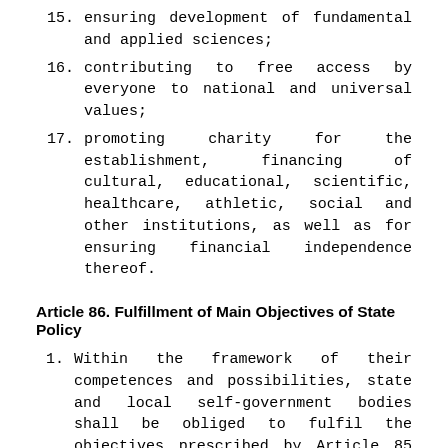15. ensuring development of fundamental and applied sciences;
16. contributing to free access by everyone to national and universal values;
17. promoting charity for the establishment, financing of cultural, educational, scientific, healthcare, athletic, social and other institutions, as well as for ensuring financial independence thereof.
Article 86. Fulfillment of Main Objectives of State Policy
1. Within the framework of their competences and possibilities, state and local self-government bodies shall be obliged to fulfil the objectives prescribed by Article 85 of the Constitution.
2. Within the framework of the report provided for by